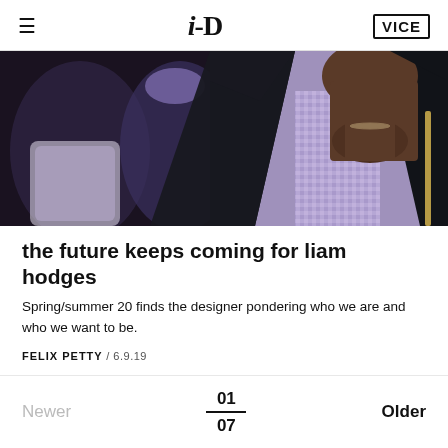i-D  VICE
[Figure (photo): Fashion runway photo of a young Black male model wearing an open navy/black puffer jacket over a lavender iridescent vest, with a crowd of spectators blurred in the background.]
the future keeps coming for liam hodges
Spring/summer 20 finds the designer pondering who we are and who we want to be.
FELIX PETTY / 6.9.19
Newer  01 / 07  Older